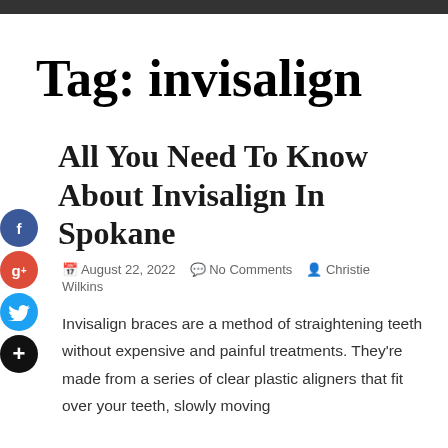Tag: invisalign
All You Need To Know About Invisalign In Spokane
August 22, 2022   No Comments   Christie Wilkins
Invisalign braces are a method of straightening teeth without expensive and painful treatments. They're made from a series of clear plastic aligners that fit over your teeth, slowly moving